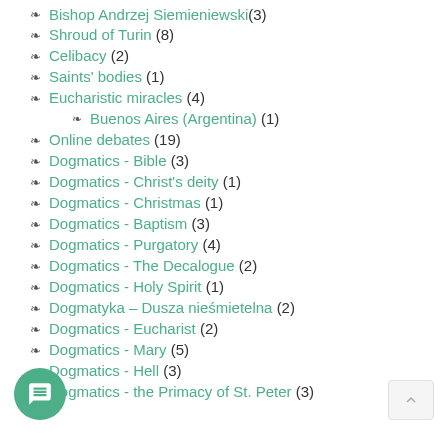Bishop Andrzej Siemieniewski (3)
Shroud of Turin (8)
Celibacy (2)
Saints' bodies (1)
Eucharistic miracles (4)
Buenos Aires (Argentina) (1)
Online debates (19)
Dogmatics - Bible (3)
Dogmatics - Christ's deity (1)
Dogmatics - Christmas (1)
Dogmatics - Baptism (3)
Dogmatics - Purgatory (4)
Dogmatics - The Decalogue (2)
Dogmatics - Holy Spirit (1)
Dogmatyka – Dusza nieśmietelna (2)
Dogmatics - Eucharist (2)
Dogmatics - Mary (5)
Dogmatics - Hell (3)
Dogmatics - the Primacy of St. Peter (3)